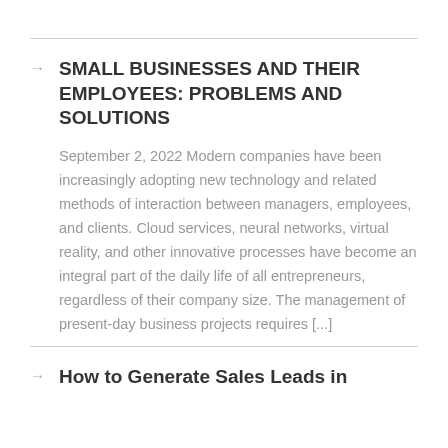SMALL BUSINESSES AND THEIR EMPLOYEES: PROBLEMS AND SOLUTIONS
September 2, 2022 Modern companies have been increasingly adopting new technology and related methods of interaction between managers, employees, and clients. Cloud services, neural networks, virtual reality, and other innovative processes have become an integral part of the daily life of all entrepreneurs, regardless of their company size. The management of present-day business projects requires [...]
How to Generate Sales Leads in